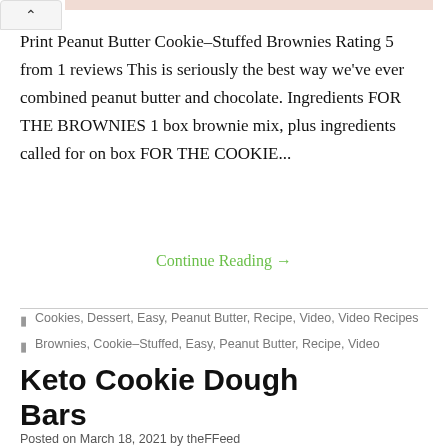Print Peanut Butter Cookie–Stuffed Brownies Rating 5 from 1 reviews This is seriously the best way we've ever combined peanut butter and chocolate. Ingredients FOR THE BROWNIES 1 box brownie mix, plus ingredients called for on box FOR THE COOKIE...
Continue Reading →
Cookies, Dessert, Easy, Peanut Butter, Recipe, Video, Video Recipes
Brownies, Cookie–Stuffed, Easy, Peanut Butter, Recipe, Video
Keto Cookie Dough Bars
Posted on March 18, 2021 by theFFeed